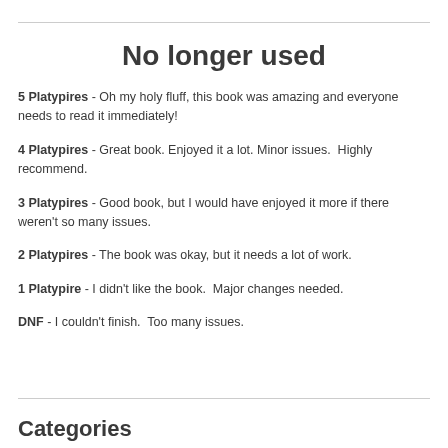No longer used
5 Platypires - Oh my holy fluff, this book was amazing and everyone needs to read it immediately!
4 Platypires - Great book. Enjoyed it a lot. Minor issues.  Highly recommend.
3 Platypires - Good book, but I would have enjoyed it more if there weren't so many issues.
2 Platypires - The book was okay, but it needs a lot of work.
1 Platypire - I didn't like the book.  Major changes needed.
DNF - I couldn't finish.  Too many issues.
Categories